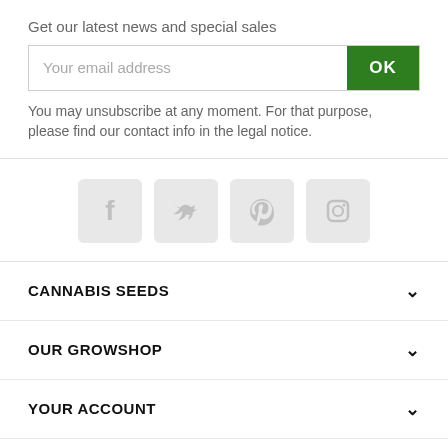Get our latest news and special sales
[Figure (screenshot): Email subscription input field with placeholder 'Your email address' and a green OK button]
You may unsubscribe at any moment. For that purpose, please find our contact info in the legal notice.
[Figure (infographic): Social media icons: Facebook, Twitter, Pinterest, Instagram — displayed in light gray rounded square tiles]
CANNABIS SEEDS
OUR GROWSHOP
YOUR ACCOUNT
STORE INFORMATION